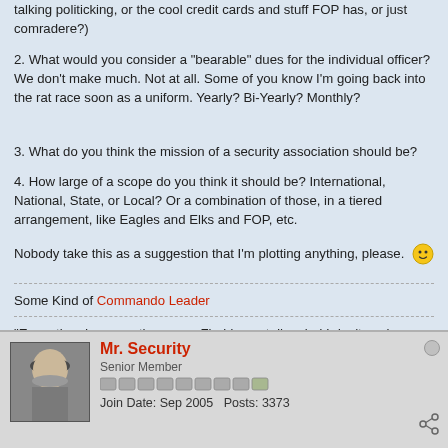talking politicking, or the cool credit cards and stuff FOP has, or just comradere?)
2. What would you consider a "bearable" dues for the individual officer? We don't make much. Not at all. Some of you know I'm going back into the rat race soon as a uniform. Yearly? Bi-Yearly? Monthly?
3. What do you think the mission of a security association should be?
4. How large of a scope do you think it should be? International, National, State, or Local? Or a combination of those, in a tiered arrangement, like Eagles and Elks and FOP, etc.
Nobody take this as a suggestion that I'm plotting anything, please. 🙂
Some Kind of Commando Leader
"Every time I see another crazy Florida post, I'm glad I don't work there." ~ Minneapolis Security on Florida Security Law
Tags: None
Mr. Security
Senior Member
Join Date: Sep 2005    Posts: 3373